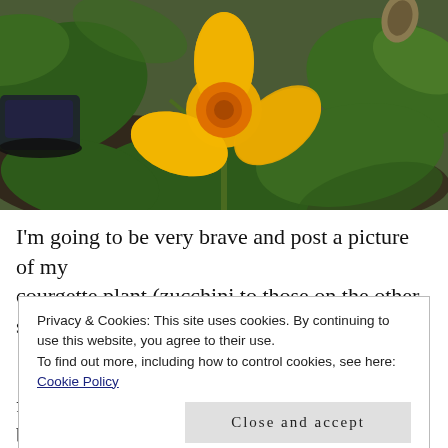[Figure (photo): A large yellow-orange courgette/zucchini flower blooming on a green plant with broad leaves, set against a dark soil background. A shoe is partially visible in the upper left corner.]
I'm going to be very brave and post a picture of my courgette plant (zucchini to those on the other side of the
Privacy & Cookies: This site uses cookies. By continuing to use this website, you agree to their use.
To find out more, including how to control cookies, see here: Cookie Policy
Close and accept
few stories published. Some of these I wrote before my